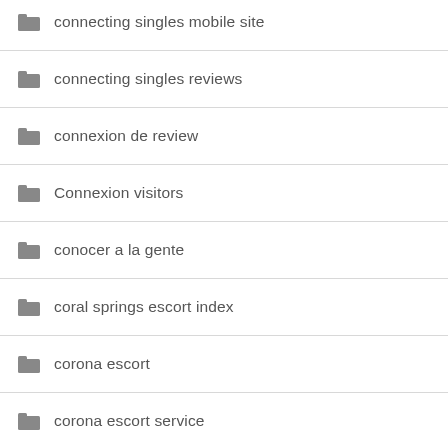connecting singles mobile site
connecting singles reviews
connexion de review
Connexion visitors
conocer a la gente
coral springs escort index
corona escort
corona escort service
corpus-christi live escort review
cougar dating reviews
Country Dating online
country dating review